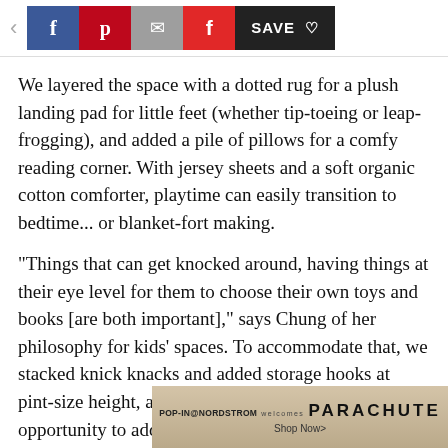< [f] [p] [mail] [f] SAVE ♡
We layered the space with a dotted rug for a plush landing pad for little feet (whether tip-toeing or leap-frogging), and added a pile of pillows for a comfy reading corner. With jersey sheets and a soft organic cotton comforter, playtime can easily transition to bedtime... or blanket-fort making.
"Things that can get knocked around, having things at their eye level for them to choose their own toys and books [are both important]," says Chung of her philosophy for kids' spaces. To accommodate that, we stacked knick knacks and added storage hooks at pint-size height, and used storage as another opportunity to add pl
[Figure (screenshot): Advertisement banner: POP-IN@NORDSTROM welcomes PARACHUTE - Shop Now>]